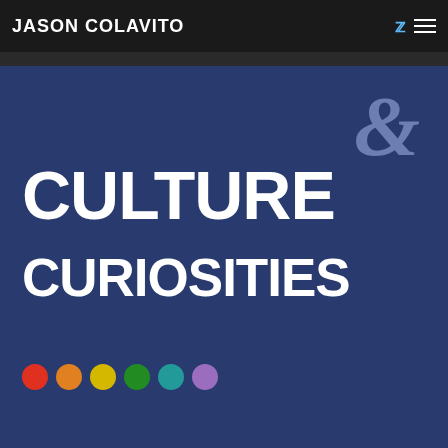JASON COLAVITO
[Figure (logo): Culture & Curiosities logo on dark navy blue background. Large white bold text reads CULTURE on top line and CURIOSITIES on bottom line, with a decorative blue-grey ampersand (&) in the upper right corner in an ornate serif style. Below the text are six colored circles in red, orange, yellow, green, teal, and purple.]